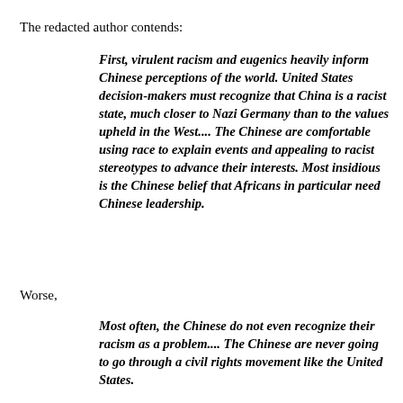The redacted author contends:
First, virulent racism and eugenics heavily inform Chinese perceptions of the world. United States decision-makers must recognize that China is a racist state, much closer to Nazi Germany than to the values upheld in the West.... The Chinese are comfortable using race to explain events and appealing to racist stereotypes to advance their interests. Most insidious is the Chinese belief that Africans in particular need Chinese leadership.
Worse,
Most often, the Chinese do not even recognize their racism as a problem.... The Chinese are never going to go through a civil rights movement like the United States.